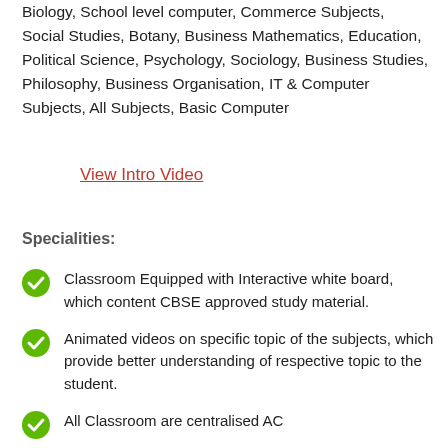Biology, School level computer, Commerce Subjects, Social Studies, Botany, Business Mathematics, Education, Political Science, Psychology, Sociology, Business Studies, Philosophy, Business Organisation, IT & Computer Subjects, All Subjects, Basic Computer
View Intro Video
Specialities:
Classroom Equipped with Interactive white board, which content CBSE approved study material.
Animated videos on specific topic of the subjects, which provide better understanding of respective topic to the student.
All Classroom are centralised AC